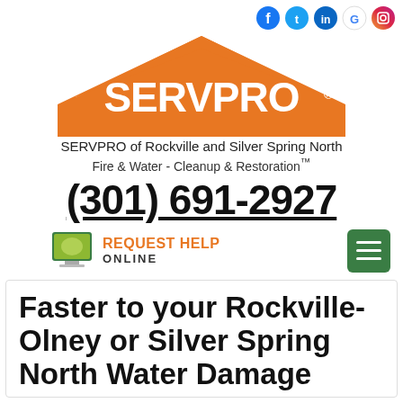[Figure (logo): Social media icons: Facebook, Twitter, LinkedIn, Google, Instagram]
[Figure (logo): SERVPRO logo with orange house/roof shape and white SERVPRO text]
SERVPRO of Rockville and Silver Spring North
Fire & Water - Cleanup & Restoration™
(301) 691-2927
[Figure (infographic): Request Help Online button with green computer monitor icon and orange text]
Faster to your Rockville-Olney or Silver Spring North Water Damage